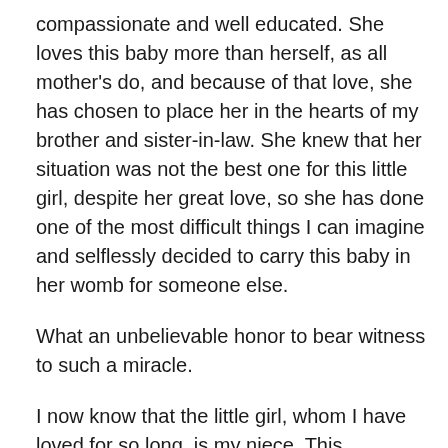compassionate and well educated. She loves this baby more than herself, as all mother's do, and because of that love, she has chosen to place her in the hearts of my brother and sister-in-law. She knew that her situation was not the best one for this little girl, despite her great love, so she has done one of the most difficult things I can imagine and selflessly decided to carry this baby in her womb for someone else.
What an unbelievable honor to bear witness to such a miracle.
I now know that the little girl, whom I have loved for so long, is my niece. This precious, beautiful baby girl who God chose specifically for Jake and Tracy and we will all get to meet her in September.